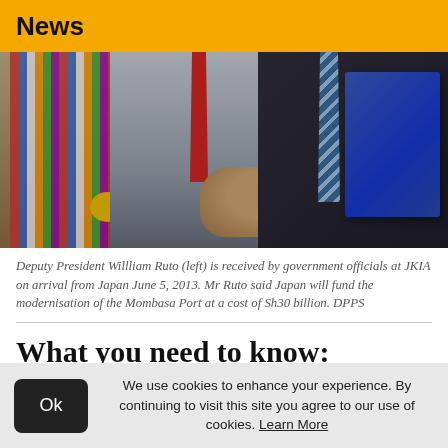News
[Figure (photo): Deputy President William Ruto (left) shaking hands with government officials at JKIA. A person in colorful striped shirt is visible on the left, a man in grey suit with red tie in the center, and another official in dark suit holding a blue folder on the right.]
Deputy President Willliam Ruto (left) is received by government officials at JKIA on arrival from Japan June 5, 2013. Mr Ruto said Japan will fund the modernisation of the Mombasa Port at a cost of Sh30 billion. DPPS
What you need to know:
Mr Ruto says there is need to urgently
We use cookies to enhance your experience. By continuing to visit this site you agree to our use of cookies. Learn More